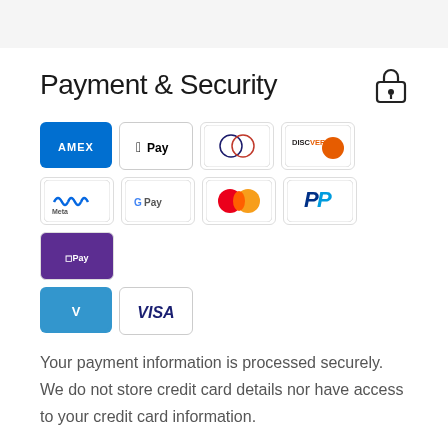Payment & Security
[Figure (infographic): Payment method icons: American Express, Apple Pay, Diners Club, Discover, Meta Pay, Google Pay, Mastercard, PayPal, Shop Pay, Venmo, Visa]
Your payment information is processed securely. We do not store credit card details nor have access to your credit card information.
You may also like
[Figure (photo): Product card showing a luggage item with a green 'Save $10.00' badge]